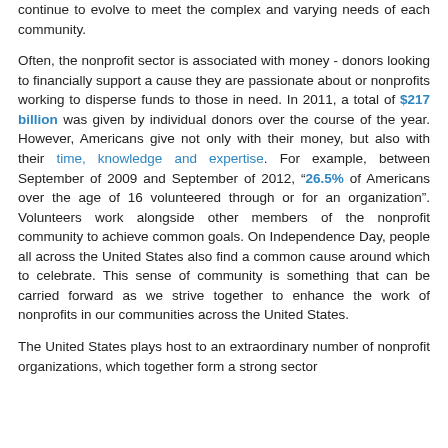continue to evolve to meet the complex and varying needs of each community.
Often, the nonprofit sector is associated with money - donors looking to financially support a cause they are passionate about or nonprofits working to disperse funds to those in need. In 2011, a total of $217 billion was given by individual donors over the course of the year. However, Americans give not only with their money, but also with their time, knowledge and expertise. For example, between September of 2009 and September of 2012, “26.5% of Americans over the age of 16 volunteered through or for an organization”. Volunteers work alongside other members of the nonprofit community to achieve common goals. On Independence Day, people all across the United States also find a common cause around which to celebrate. This sense of community is something that can be carried forward as we strive together to enhance the work of nonprofits in our communities across the United States.
The United States plays host to an extraordinary number of nonprofit organizations, which together form a strong sector